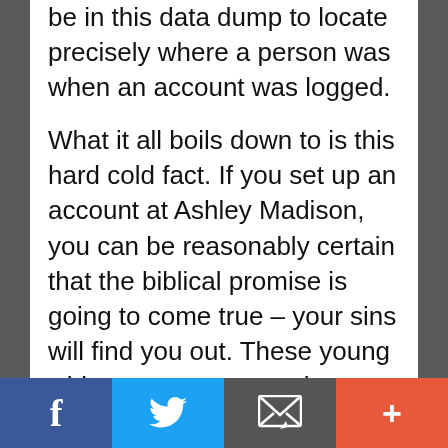be in this data dump to locate precisely where a person was when an account was logged.
What it all boils down to is this hard cold fact. If you set up an account at Ashley Madison, you can be reasonably certain that the biblical promise is going to come true – your sins will find you out. These young whippersnappers out there, they are on this stuff! There are no secrets now. If you had an AM account, it is nearly a certainty that you will be identified. Not by me, but by someone, likely by
Facebook | Twitter | Email | +